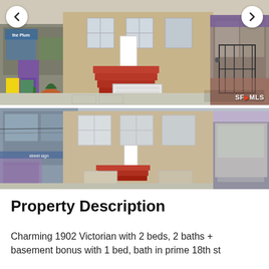[Figure (photo): Street-level view of a 1902 Victorian home in San Francisco with red/orange exterior stairs, tan stucco facade, and white garage door, flanked by neighboring buildings including a purple-door shop on the left and brick building on the right. Navigation arrows visible.]
[Figure (photo): Second photo of the same San Francisco Victorian home from a slightly different angle, showing tan facade with red stairs, blue neighboring building on left, and commercial storefront on right.]
Property Description
Charming 1902 Victorian with 2 beds, 2 baths + basement bonus with 1 bed, bath in prime 18th st